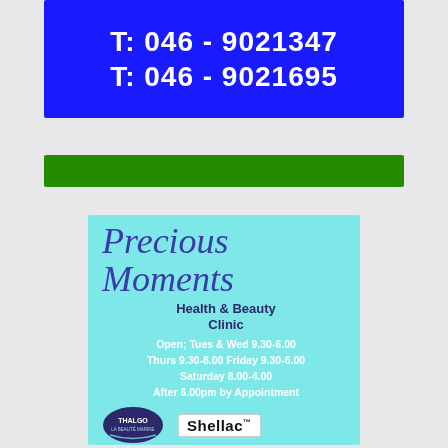[Figure (other): Blue advertisement banner with white bold text showing phone numbers: T: 046 - 9021347 and T: 046 - 9021695]
[Figure (other): Green horizontal bar/banner]
[Figure (other): Precious Moments Health & Beauty Clinic advertisement on light blue background with opening hours and brand logos (Thalgo and Shellac)]